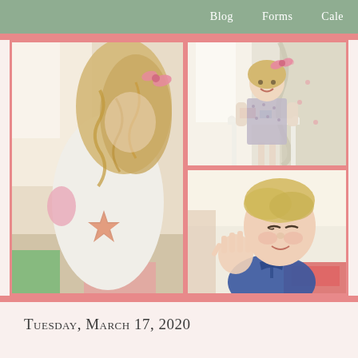Blog    Forms    Cale
[Figure (photo): Close-up of a young girl with long curly blonde hair wearing a white dress with a pink starfish applique, leaning forward]
[Figure (photo): Young girl with blonde hair and a pink bow, wearing a grey floral dress, standing at a small white table in a room with curtains]
[Figure (photo): Close-up of a young toddler boy with blonde hair wearing a navy polo shirt, looking down with hand raised]
Tuesday, March 17, 2020